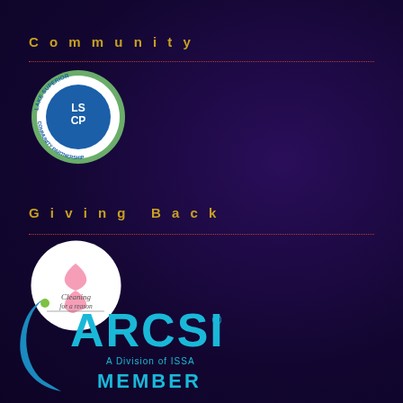Community
[Figure (logo): Lake Superior Community Partnership (LSCP) circular logo with blue center circle showing LSCP letters and green outer ring with text 'LAKE SUPERIOR COMMUNITY PARTNERSHIP']
Giving Back
[Figure (logo): Cleaning for a Reason circular logo with white background, script text 'Cleaning for a reason' and pink breast cancer awareness ribbon]
[Figure (logo): ARCSI - A Division of ISSA MEMBER logo with cyan/blue crescent arc shape and text]